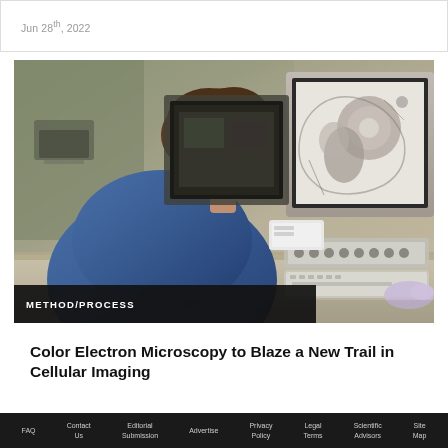Jun 28th, 2022
[Figure (photo): Researcher in a blue shirt viewed from behind, sitting at a workstation with multiple computer monitors displaying electron microscopy images of cellular structures in grayscale. Lab equipment visible in the background.]
METHOD/PROCESS
Color Electron Microscopy to Blaze a New Trail in Cellular Imaging
A the viewers from the University of Sapping...
FAQ  Contact Us  Editorial Submission  Advertise  Privacy Policy  Legal Terms  Scientific Advisors  Site Map